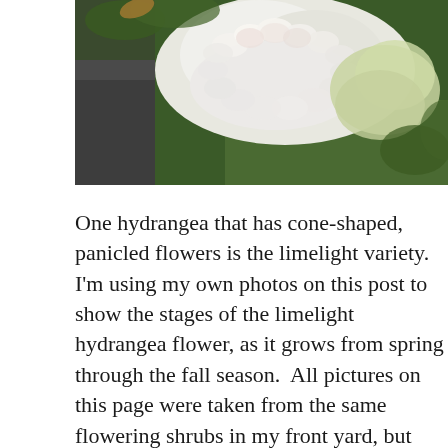[Figure (photo): Close-up photo of white and light pink hydrangea cone-shaped panicle flowers with green foliage and a dark rock in the background.]
One hydrangea that has cone-shaped, panicled flowers is the limelight variety.  I'm using my own photos on this post to show the stages of the limelight hydrangea flower, as it grows from spring through the fall season.  All pictures on this page were taken from the same flowering shrubs in my front yard, but throughout their growth period.
Hydrangeas can produce some of the most spectacular light green flowers, and the limelight does not disappoint.  Brides love this